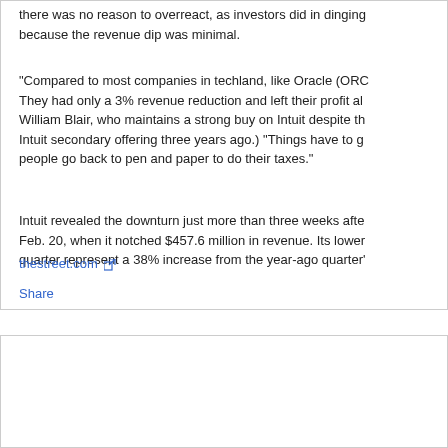there was no reason to overreact, as investors did in dinging because the revenue dip was minimal.
"Compared to most companies in techland, like Oracle (ORC They had only a 3% revenue reduction and left their profit al William Blair, who maintains a strong buy on Intuit despite th Intuit secondary offering three years ago.) "Things have to g people go back to pen and paper to do their taxes."
Intuit revealed the downturn just more than three weeks afte Feb. 20, when it notched $457.6 million in revenue. Its lower quarter represent a 38% increase from the year-ago quarter'
thestreet.com
Share